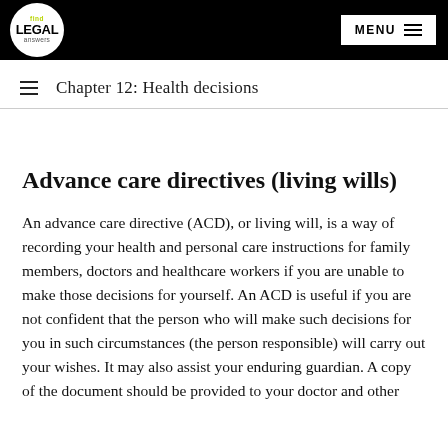find LEGAL answers | MENU
Chapter 12: Health decisions
Advance care directives (living wills)
An advance care directive (ACD), or living will, is a way of recording your health and personal care instructions for family members, doctors and healthcare workers if you are unable to make those decisions for yourself. An ACD is useful if you are not confident that the person who will make such decisions for you in such circumstances (the person responsible) will carry out your wishes. It may also assist your enduring guardian. A copy of the document should be provided to your doctor and other